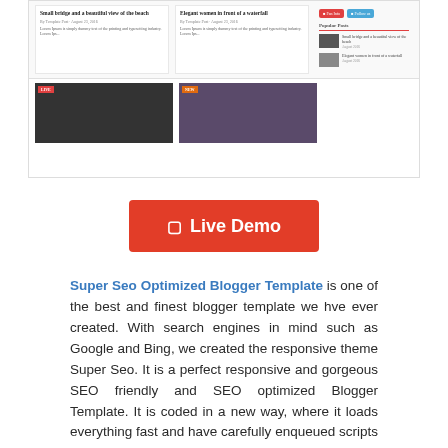[Figure (screenshot): Screenshot of a blogger template website showing article cards, sidebar with popular posts, social buttons, and image thumbnails with LIVE and NEW badges]
[Figure (other): Red 'Live Demo' button with monitor icon]
Super Seo Optimized Blogger Template is one of the best and finest blogger template we hve ever created. With search engines in mind such as Google and Bing, we created the responsive theme Super Seo. It is a perfect responsive and gorgeous SEO friendly and SEO optimized Blogger Template. It is coded in a new way, where it loads everything fast and have carefully enqueued scripts so it loads as quickly as possible. It is specially designed for any kind of newspaper, blog, magazine, portal and personal type website. Check more awesome features of the Super Seo Blogger